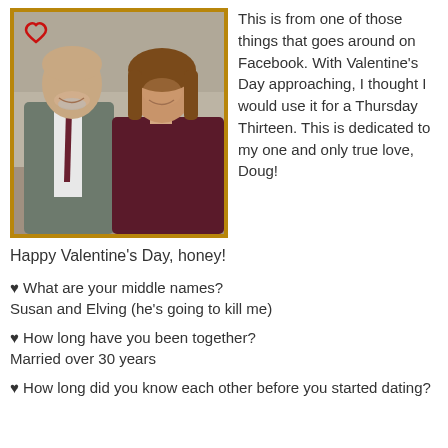[Figure (photo): A couple (man and woman) smiling together at what appears to be an indoor event. The man is wearing a grey suit with a dark tie. The woman has brown hair and is wearing a dark maroon top. A red heart decoration is visible in the upper left corner of the framed photo.]
This is from one of those things that goes around on Facebook. With Valentine's Day approaching, I thought I would use it for a Thursday Thirteen. This is dedicated to my one and only true love, Doug!
Happy Valentine's Day, honey!
♥ What are your middle names?
Susan and Elving (he's going to kill me)
♥ How long have you been together?
Married over 30 years
♥ How long did you know each other before you started dating?